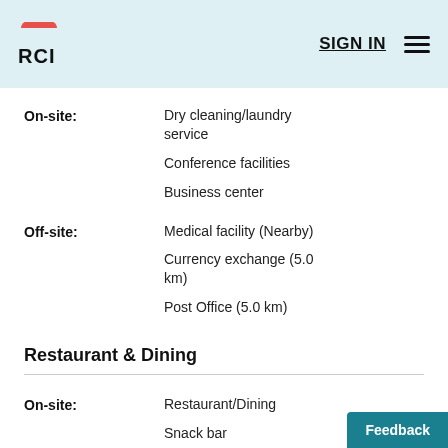RCI | SIGN IN
On-site: Dry cleaning/laundry service
On-site: Conference facilities
On-site: Business center
Off-site: Medical facility (Nearby)
Off-site: Currency exchange (5.0 km)
Off-site: Post Office (5.0 km)
Restaurant & Dining
On-site: Restaurant/Dining
On-site: Snack bar